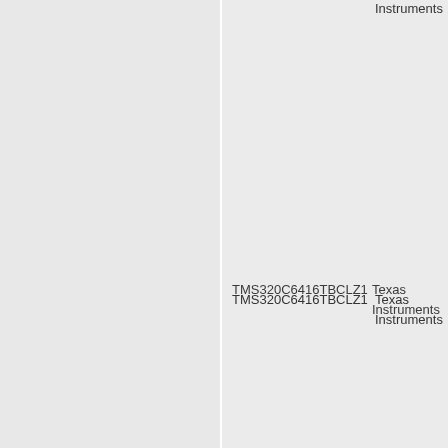Instruments
TMS320C6416TBCLZ1
Texas Instruments
TMS320C6416TBCLZ7
Texas Instruments
TMS320C6416TBGLZA7
Texas Instruments
TMS320C6416TBGLZA8
Texas Instruments